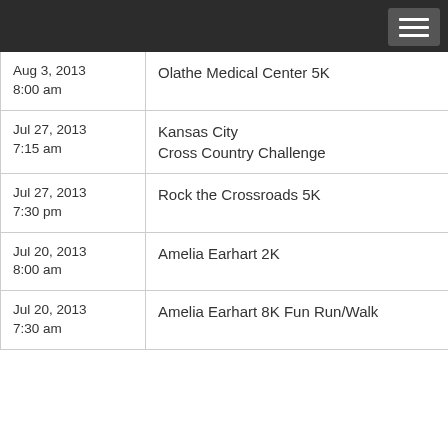| Date/Time | Event |
| --- | --- |
| Aug 3, 2013
8:00 am | Olathe Medical Center 5K |
| Jul 27, 2013
7:15 am | Kansas City
Cross Country Challenge |
| Jul 27, 2013
7:30 pm | Rock the Crossroads 5K |
| Jul 20, 2013
8:00 am | Amelia Earhart 2K |
| Jul 20, 2013
7:30 am | Amelia Earhart 8K Fun Run/Walk |